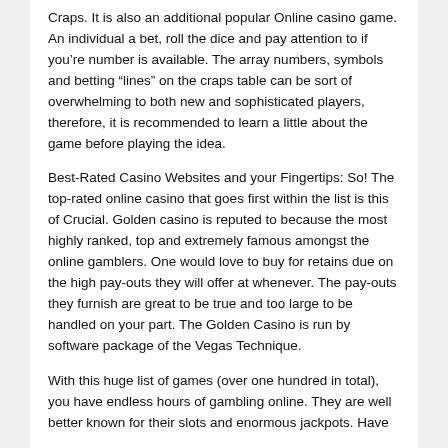Craps. It is also an additional popular Online casino game. An individual a bet, roll the dice and pay attention to if you're number is available. The array numbers, symbols and betting “lines” on the craps table can be sort of overwhelming to both new and sophisticated players, therefore, it is recommended to learn a little about the game before playing the idea.
Best-Rated Casino Websites and your Fingertips: So! The top-rated online casino that goes first within the list is this of Crucial. Golden casino is reputed to because the most highly ranked, top and extremely famous amongst the online gamblers. One would love to buy for retains due on the high pay-outs they will offer at whenever. The pay-outs they furnish are great to be true and too large to be handled on your part. The Golden Casino is run by software package of the Vegas Technique.
With this huge list of games (over one hundred in total), you have endless hours of gambling online. They are well better known for their slots and enormous jackpots. Have